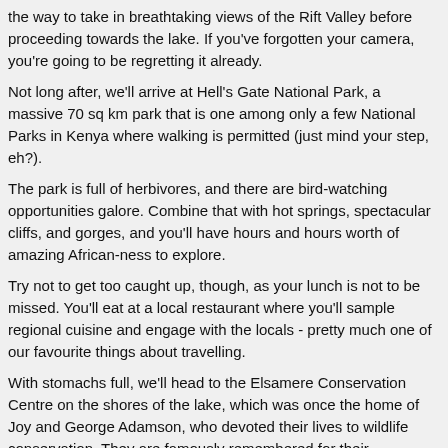the way to take in breathtaking views of the Rift Valley before proceeding towards the lake. If you've forgotten your camera, you're going to be regretting it already.
Not long after, we'll arrive at Hell's Gate National Park, a massive 70 sq km park that is one among only a few National Parks in Kenya where walking is permitted (just mind your step, eh?).
The park is full of herbivores, and there are bird-watching opportunities galore. Combine that with hot springs, spectacular cliffs, and gorges, and you'll have hours and hours worth of amazing African-ness to explore.
Try not to get too caught up, though, as your lunch is not to be missed. You'll eat at a local restaurant where you'll sample regional cuisine and engage with the locals - pretty much one of our favourite things about travelling.
With stomachs full, we'll head to the Elsamere Conservation Centre on the shores of the lake, which was once the home of Joy and George Adamson, who devoted their lives to wildlife conservation. They are famously remembered for their relationship with the lioness Elsa, having reared her from a cub and released her back into the wild.
On that heartwarming note, we'll head back to Nairobi after a full day of exploring.
Additional Information
When packing, be aware that dress standards are conservative throughout Africa. To respect this, and for your own comfort, we